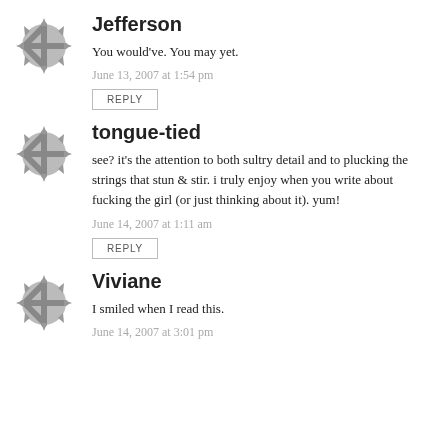Jefferson
You would've. You may yet.
June 13, 2007 at 1:54 pm
REPLY
tongue-tied
see? it's the attention to both sultry detail and to plucking the strings that stun & stir. i truly enjoy when you write about fucking the girl (or just thinking about it). yum!
June 14, 2007 at 1:11 am
REPLY
Viviane
I smiled when I read this.
June 14, 2007 at 3:01 pm